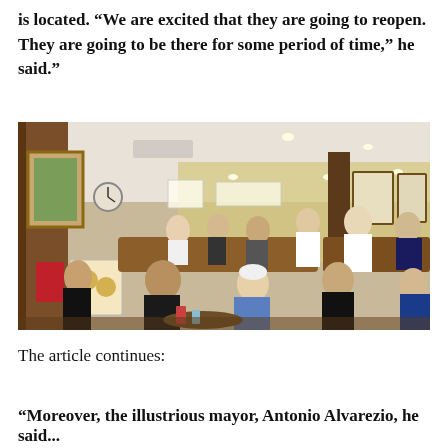is located. “We are excited that they are going to reopen. They are going to be there for some period of time,” he said.”
[Figure (photo): Interior of a busy diner/restaurant with booths filled with patrons, warm lighting, framed pictures on the walls, and a staff member visible in the background.]
The article continues:
“Moreover, the illustrious mayor, Antonio Alvarezio, he said...